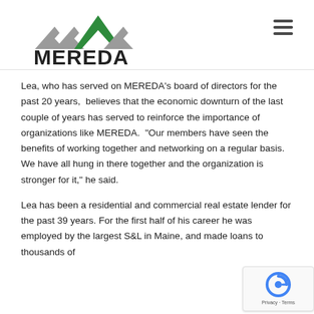MEREDA
Lea, who has served on MEREDA's board of directors for the past 20 years,  believes that the economic downturn of the last couple of years has served to reinforce the importance of organizations like MEREDA.  "Our members have seen the benefits of working together and networking on a regular basis. We have all hung in there together and the organization is stronger for it," he said.
Lea has been a residential and commercial real estate lender for the past 39 years. For the first half of his career he was employed by the largest S&L in Maine, and made loans to thousands of